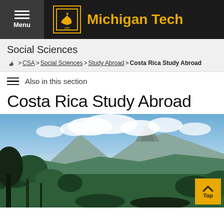Michigan Tech
Social Sciences
🐺 > CSA > Social Sciences > Study Abroad > Costa Rica Study Abroad
Also in this section
Costa Rica Study Abroad
[Figure (photo): Panoramic landscape of Costa Rica showing tropical forest in foreground, mountains and volcano in background with blue sky and white clouds]